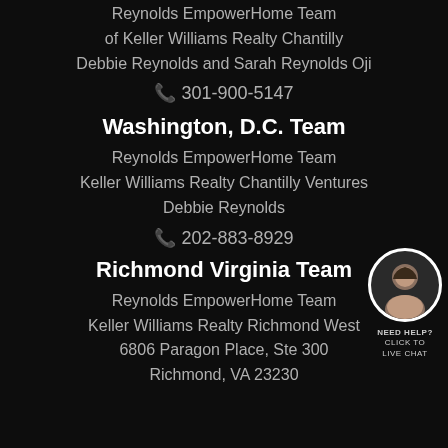Reynolds EmpowerHome Team
of Keller Williams Realty Chantilly
Debbie Reynolds and Sarah Reynolds Oji
📞 301-900-5147
Washington, D.C. Team
Reynolds EmpowerHome Team
Keller Williams Realty Chantilly Ventures
Debbie Reynolds
📞 202-883-8929
[Figure (photo): Circular headshot of a smiling woman with dark hair, with a 'NEED HELP? CLICK TO LIVE CHAT' badge below]
Richmond Virginia Team
Reynolds EmpowerHome Team
Keller Williams Realty Richmond West
6806 Paragon Place, Ste 300
Richmond, VA 23230